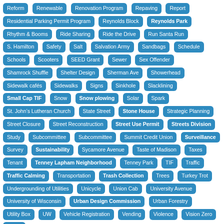Reform
Renewable
Renovation Program
Repaving
Report
Residential Parking Permit Program
Reynolds Block
Reynolds Park
Rhythm & Booms
Ride Sharing
Ride the Drive
Run Santa Run
S. Hamilton
Safety
Salt
Salvation Army
Sandbags
Schedule
Schools
Scooters
SEED Grant
Sewer
Sex Offender
Shamrock Shuffle
Shelter Design
Sherman Ave
Showerhead
Sidewalk cafés
Sidewalks
Signs
Sinkhole
Slacklining
Small Cap TIF
Snow
Snow plowing
Solar
Spark
St. John's Lutheran Church
State Street
Stone House
Strategic Planning
Street Closure
Street Reconstruction
Street Use Permit
Streets Division
Study
Subcommittee
Subcommittee
Summit Credit Union
Surveillance
Survey
Sustainability
Sycamore Avenue
Taste of Madison
Taxes
Tenant
Tenney Lapham Neighborhood
Tenney Park
TIF
Traffic
Traffic Calming
Transportation
Trash Collection
Trees
Turkey Trot
Undergrounding of Utilities
Unicycle
Union Cab
University Avenue
University of Wisconsin
Urban Design Commission
Urban Forestry
Utility Box
UW
Vehicle Registration
Vending
Violence
Vision Zero
Voting